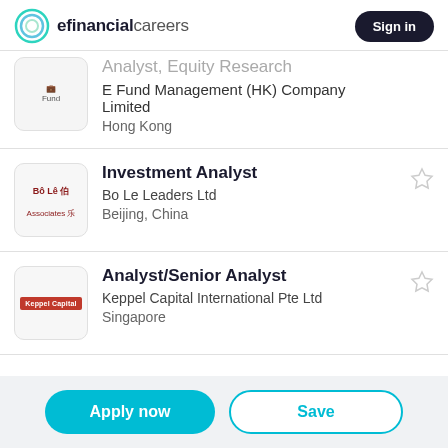efinancialcareers | Sign in
Analyst, Equity Research
E Fund Management (HK) Company Limited
Hong Kong
Investment Analyst
Bo Le Leaders Ltd
Beijing, China
Analyst/Senior Analyst
Keppel Capital International Pte Ltd
Singapore
Apply now | Save